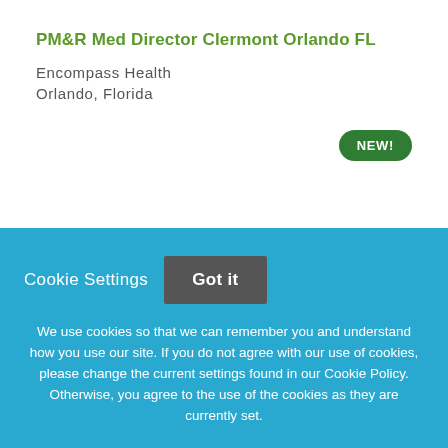PM&R Med Director Clermont Orlando FL
Encompass Health
Orlando, Florida
[Figure (logo): Centura Health Logo placeholder image]
Cookie Settings  Got it

We use cookies so that we can remember you and understand how you use our site. If you do not agree with our use of cookies, please change the current settings found in our Cookie Policy. Otherwise, you agree to the use of the cookies as they are currently set.